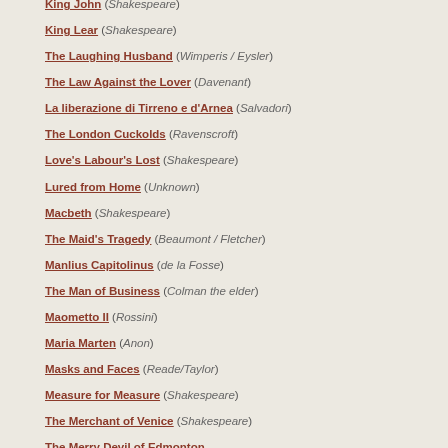King John (Shakespeare)
King Lear (Shakespeare)
The Laughing Husband (Wimperis / Eysler)
The Law Against the Lover (Davenant)
La liberazione di Tirreno e d'Arnea (Salvadori)
The London Cuckolds (Ravenscroft)
Love's Labour's Lost (Shakespeare)
Lured from Home (Unknown)
Macbeth (Shakespeare)
The Maid's Tragedy (Beaumont / Fletcher)
Manlius Capitolinus (de la Fosse)
The Man of Business (Colman the elder)
Maometto II (Rossini)
Maria Marten (Anon)
Masks and Faces (Reade/Taylor)
Measure for Measure (Shakespeare)
The Merchant of Venice (Shakespeare)
The Merry Devil of Edmonton
Der Meshumed (Lateiner)
A Midsummer Night's Dream (Shakespeare)